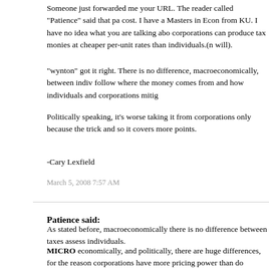Someone just forwarded me your URL. The reader called "Patience" said that pa cost. I have a Masters in Econ from KU. I have no idea what you are talking abo corporations can produce tax monies at cheaper per-unit rates than individuals.(n will).
"wynton" got it right. There is no difference, macroeconomically, between indiv follow where the money comes from and how individuals and corporations mitig
Politically speaking, it's worse taking it from corporations only because the trick and so it covers more points.
-Cary Lexfield
March 5, 2008 7:57 AM
Patience said:
As stated before, macroeconomically there is no difference between taxes assess individuals.
MICRO economically, and politically, there are huge differences, for the reason corporations have more pricing power than do individual workers.
When a tax is increased, what is the marginal cost TO THE CORPORATION? W previously no tax, and a new one is enacted, the intial cost is the cost of the tax